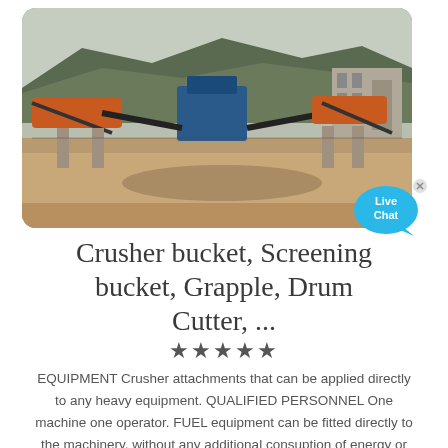[Figure (photo): Outdoor industrial quarry/crushing plant with conveyor belts, orange and blue machinery, concrete pillars, rocky hillside in background, under overcast sky.]
Crusher bucket, Screening bucket, Grapple, Drum Cutter, ...
★★★★★
EQUIPMENT Crusher attachments that can be applied directly to any heavy equipment. QUALIFIED PERSONNEL One machine one operator. FUEL equipment can be fitted directly to the machinery, without any additional consuption of energy or fuel.